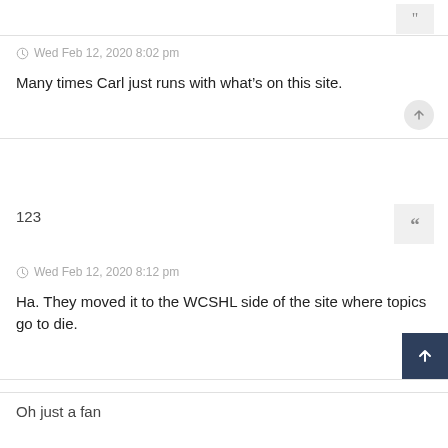Wed Feb 12, 2020 8:02 pm
Many times Carl just runs with what's on this site.
123
Wed Feb 12, 2020 8:12 pm
Ha. They moved it to the WCSHL side of the site where topics go to die.
Oh just a fan